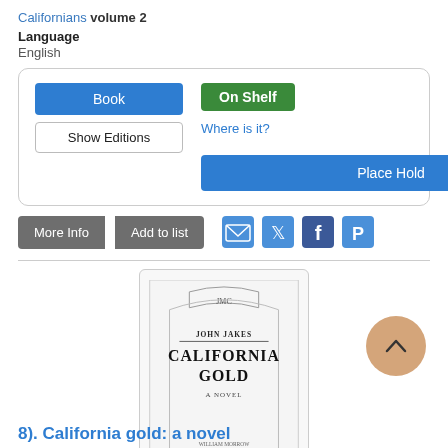Californians volume 2
Language
English
[Figure (screenshot): Library catalog UI card with Book button, Show Editions button, On Shelf badge, Where is it? link, and Place Hold button]
More Info | Add to list
[Figure (illustration): Social sharing icons: email, Twitter, Facebook, Pinterest]
[Figure (photo): Book cover of California Gold by John Jakes, a novel, published by William Morrow New York]
[Figure (illustration): 5 empty star rating icons]
8). California gold: a novel